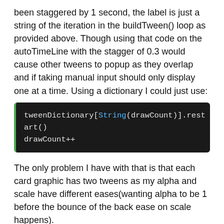been staggered by 1 second, the label is just a string of the iteration in the buildTween() loop as provided above. Though using that code on the autoTimeLine with the stagger of 0.3 would cause other tweens to popup as they overlap and if taking manual input should only display one at a time. Using a dictionary I could just use:
[Figure (screenshot): Code block showing: tweenDictionary[String(drawCount)].restart() followed by drawCount++]
The only problem I have with that is that each card graphic has two tweens as my alpha and scale have different eases(wanting alpha to be 1 before the bounce of the back ease on scale happens).